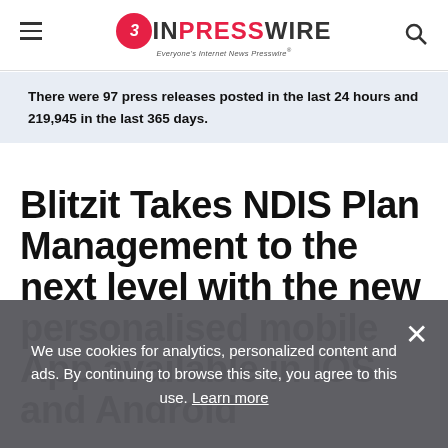EIN PRESSWIRE — Everyone's Internet News Presswire
There were 97 press releases posted in the last 24 hours and 219,945 in the last 365 days.
Blitzit Takes NDIS Plan Management to the next level with the new personalised mobile App available in IOS and Android
We use cookies for analytics, personalized content and ads. By continuing to browse this site, you agree to this use. Learn more